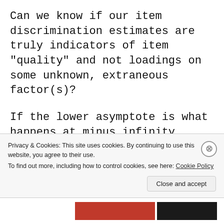Can we know if our item discrimination estimates are truly indicators of item "quality" and not loadings on some unknown, extraneous factor(s)?
If the lower asymptote is what happens at minus infinity where we have no data and never want to have
Privacy & Cookies: This site uses cookies. By continuing to use this website, you agree to their use. To find out more, including how to control cookies, see here: Cookie Policy
Close and accept